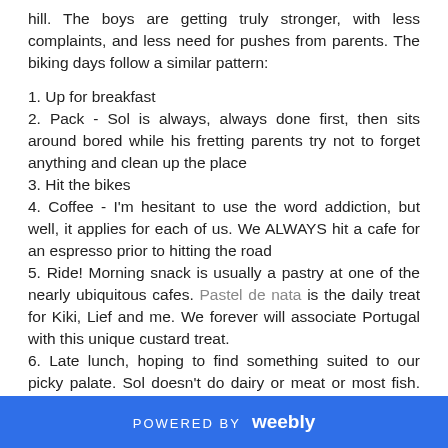hill. The boys are getting truly stronger, with less complaints, and less need for pushes from parents. The biking days follow a similar pattern:
1. Up for breakfast
2. Pack - Sol is always, always done first, then sits around bored while his fretting parents try not to forget anything and clean up the place
3. Hit the bikes
4. Coffee - I'm hesitant to use the word addiction, but well, it applies for each of us. We ALWAYS hit a cafe for an espresso prior to hitting the road
5. Ride! Morning snack is usually a pastry at one of the nearly ubiquitous cafes. Pastel de nata is the daily treat for Kiki, Lief and me. We forever will associate Portugal with this unique custard treat.
6. Late lunch, hoping to find something suited to our picky palate. Sol doesn't do dairy or meat or most fish. Kiki and I
POWERED BY weebly